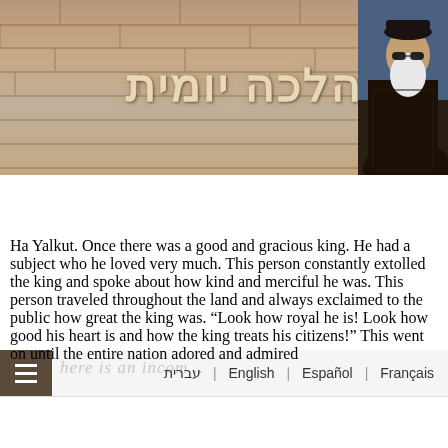[Figure (photo): Header banner with stone wall background texture, Hebrew title 'הלכה יומית' (Halacha Yomit) in golden/cream text, and a photo of a rabbi in dark clothing on the right side]
עברית | English | Español | Français
Ha Yalkut. Once there was a good and gracious king. He had a subject who he loved very much. This person constantly extolled the king and spoke about how kind and merciful he was. This person traveled throughout the land and always exclaimed to the public how great the king was. “Look how royal he is! Look how good his heart is and how the king treats his citizens!” This went on until the entire nation adored and admired the king...